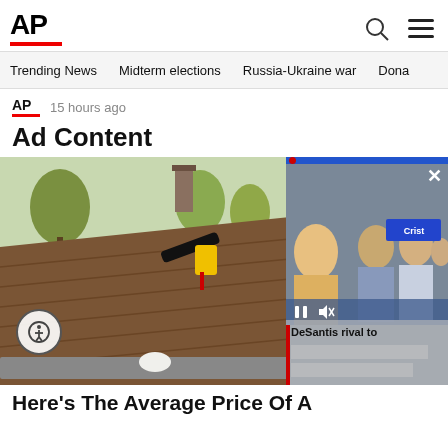AP
Trending News  Midterm elections  Russia-Ukraine war  Dona
AP  15 hours ago
Ad Content
[Figure (photo): Person cleaning or inspecting a residential roof/gutters with a power tool, with yellow device visible. Overlaid with a video thumbnail showing people at a political event with text 'DeSantis rival to']
Here's The Average Price Of A